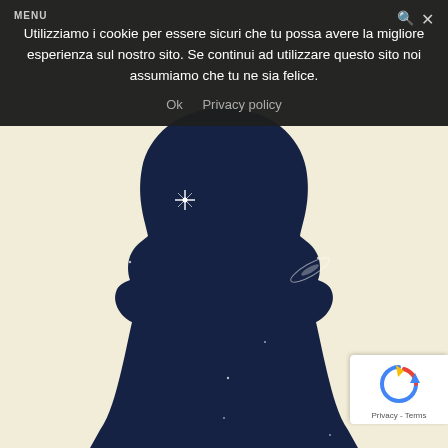[Figure (illustration): Dark silhouette of a person's head and upper body against a pale cream/beige background. The silhouette interior shows a night sky with stars, a bright star burst and a galaxy shape visible inside the dark form.]
Utilizziamo i cookie per essere sicuri che tu possa avere la migliore esperienza sul nostro sito. Se continui ad utilizzare questo sito noi assumiamo che tu ne sia felice.
Ok   Privacy policy
[Figure (logo): Google reCAPTCHA badge with rotating arrows icon and 'Privacy - Terms' text below.]